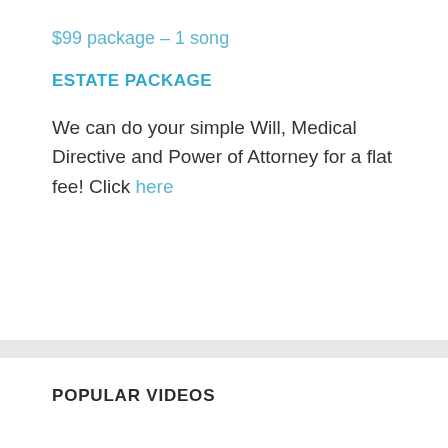$99 package – 1 song
ESTATE PACKAGE
We can do your simple Will, Medical Directive and Power of Attorney for a flat fee! Click here
POPULAR VIDEOS